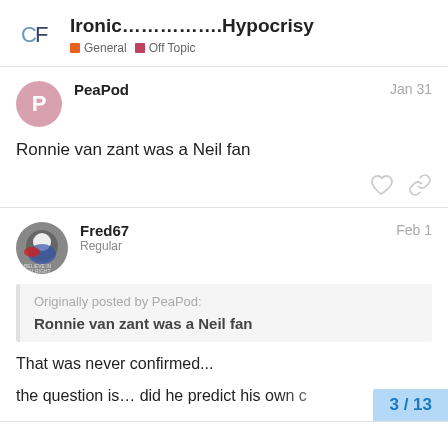Ironic…………….Hypocrisy — General / Off Topic
PeaPod — Jan 31
Ronnie van zant was a Neil fan
Fred67 — Regular — Feb 1
Originally posted by PeaPod:
Ronnie van zant was a Neil fan

That was never confirmed...

the question is... did he predict his own c
3 / 13